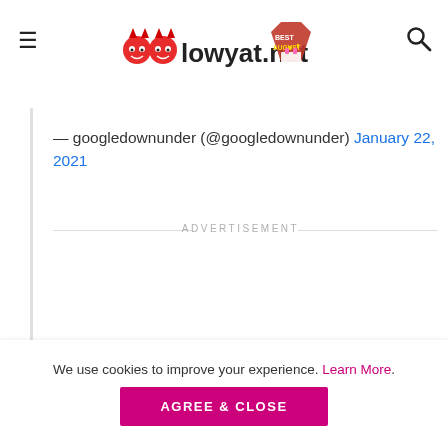lowyat.net
— googledownunder (@googledownunder) January 22, 2021
ADVERTISEMENT
We use cookies to improve your experience. Learn More. AGREE & CLOSE